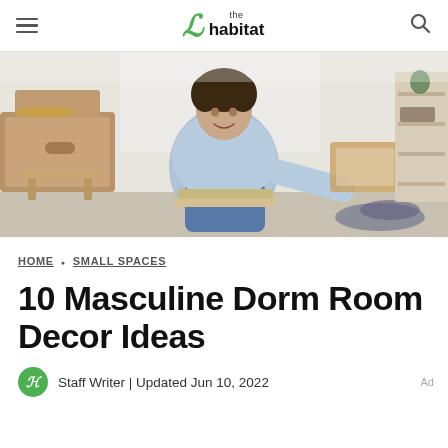the habitat — navigation header with hamburger menu and search icon
[Figure (photo): Young man with curly hair wearing a denim jacket, sitting on stacked books/boards in a bright room, smiling and holding a wooden picture frame. Moving boxes visible on the left, shelving unit in the background right.]
HOME • SMALL SPACES
10 Masculine Dorm Room Decor Ideas
Staff Writer | Updated Jun 10, 2022
Ad